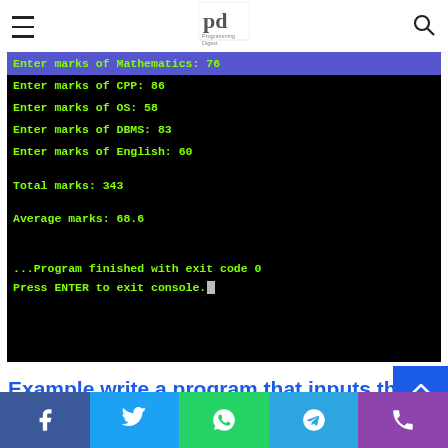Programming Digest logo with hamburger menu and search icon
[Figure (screenshot): Terminal/console output showing program execution: Enter marks of Mathematics: 76 (highlighted), Enter marks of CPP: 86, Enter marks of OS: 58, Enter marks of DBMS: 83, Enter marks of English: 60, Total marks: 343, Average marks: 68.6, ...Program finished with exit code 0, Press ENTER to exit console.]
Example write a program that inputs th
Facebook Twitter WhatsApp Telegram Phone social share bar